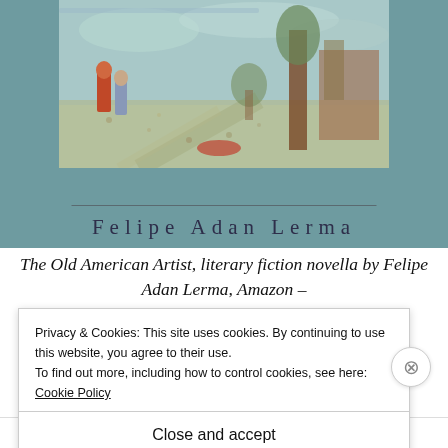[Figure (illustration): Book cover showing an impressionist-style painting of a street scene with figures, trees, and buildings in soft pastel tones, set against a teal/muted blue-green background. Author name 'Felipe Adan Lerma' in spaced serif letters below the painting, separated by a horizontal rule.]
The Old American Artist, literary fiction novella by Felipe Adan Lerma, Amazon –
Privacy & Cookies: This site uses cookies. By continuing to use this website, you agree to their use.
To find out more, including how to control cookies, see here: Cookie Policy
Close and accept